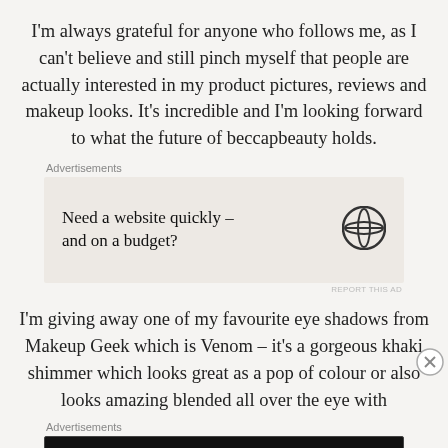I'm always grateful for anyone who follows me, as I can't believe and still pinch myself that people are actually interested in my product pictures, reviews and makeup looks. It's incredible and I'm looking forward to what the future of beccapbeauty holds.
Advertisements
[Figure (screenshot): WordPress advertisement: 'Need a website quickly – and on a budget?' with WordPress logo]
I'm giving away one of my favourite eye shadows from Makeup Geek which is Venom – it's a gorgeous khaki shimmer which looks great as a pop of colour or also looks amazing blended all over the eye with
Advertisements
[Figure (screenshot): Longreads advertisement: 'Read anything great lately?' with Longreads logo on black background]